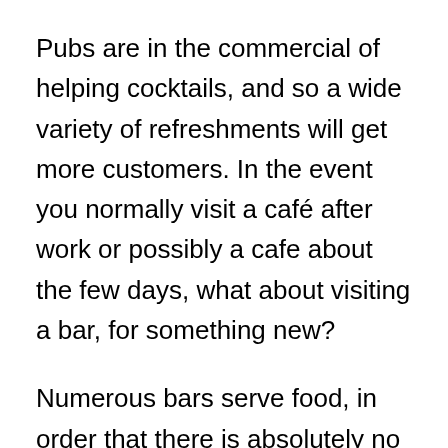Pubs are in the commercial of helping cocktails, and so a wide variety of refreshments will get more customers. In the event you normally visit a café after work or possibly a cafe about the few days, what about visiting a bar, for something new?
Numerous bars serve food, in order that there is absolutely no need to go any place else when you get eager. Much too easily a fast consume in the evening can turn into an evening around the tiles, and you'll soon have to consume. The quality and assortment of food could be the most critical factor in